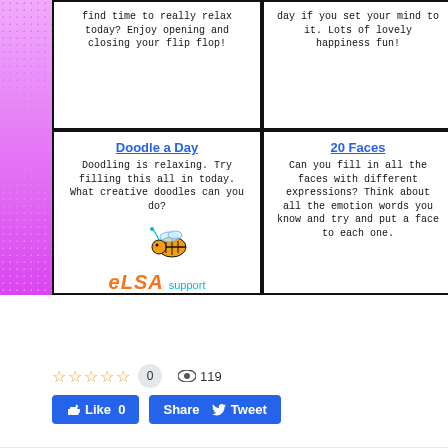[Figure (infographic): Educational activity cards grid on colorful background with pink/purple gradient. Cards include 'Doodle a Day' and '20 Faces' activity cards, plus partially visible cards with text about relaxing/flip flop and happiness fun. ELSA support logo visible with bee illustration.]
Continue reading
0  119
Like 0  Share Tweet